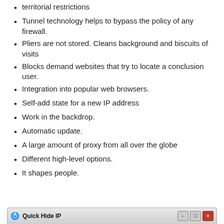territorial restrictions
Tunnel technology helps to bypass the policy of any firewall.
Pliers are not stored. Cleans background and biscuits of visits
Blocks demand websites that try to locate a conclusion user.
Integration into popular web browsers.
Self-add state for a new IP address
Work in the backdrop.
Automatic update.
A large amount of proxy from all over the globe
Different high-level options.
It shapes people.
[Figure (screenshot): Bottom taskbar showing Quick Hide IP application window title bar]